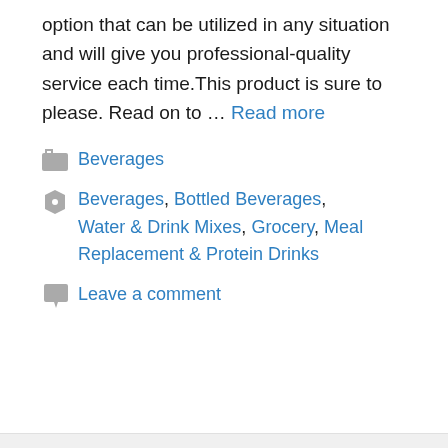option that can be utilized in any situation and will give you professional-quality service each time.This product is sure to please. Read on to … Read more
Beverages
Beverages, Bottled Beverages, Water & Drink Mixes, Grocery, Meal Replacement & Protein Drinks
Leave a comment